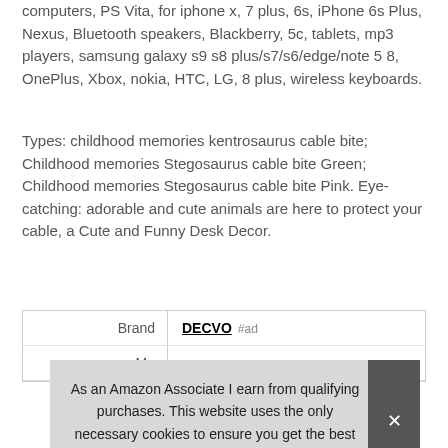computers, PS Vita, for iphone x, 7 plus, 6s, iPhone 6s Plus, Nexus, Bluetooth speakers, Blackberry, 5c, tablets, mp3 players, samsung galaxy s9 s8 plus/s7/s6/edge/note 5 8, OnePlus, Xbox, nokia, HTC, LG, 8 plus, wireless keyboards.
Types: childhood memories kentrosaurus cable bite; Childhood memories Stegosaurus cable bite Green; Childhood memories Stegosaurus cable bite Pink. Eye-catching: adorable and cute animals are here to protect your cable, a Cute and Funny Desk Decor.
| Brand |  |
| --- | --- |
| Brand | DECVO #ad |
| Ma |  |
As an Amazon Associate I earn from qualifying purchases. This website uses the only necessary cookies to ensure you get the best experience on our website. More information